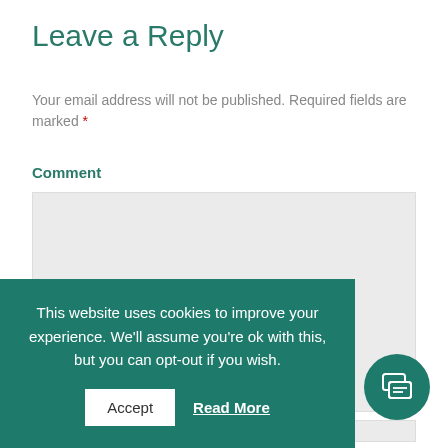Leave a Reply
Your email address will not be published. Required fields are marked *
Comment
[Figure (screenshot): Empty comment textarea input field with light gray background and resize handle in bottom right corner]
[Figure (screenshot): Cookie consent banner overlay with teal background. Text: 'This website uses cookies to improve your experience. We'll assume you're ok with this, but you can opt-out if you wish.' with Accept button and Read More link. Teal circular chat icon button in bottom right corner.]